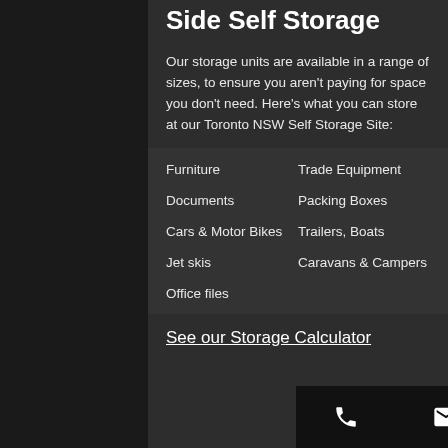Side Self Storage
Our storage units are available in a range of sizes, to ensure you aren't paying for space you don't need. Here's what you can store at our Toronto NSW Self Storage Site:
Furniture
Trade Equipment
Documents
Packing Boxes
Cars & Motor Bikes
Trailers, Boats
Jet skis
Caravans & Campers
Office files
See our Storage Calculator
Phone | Email | Facebook